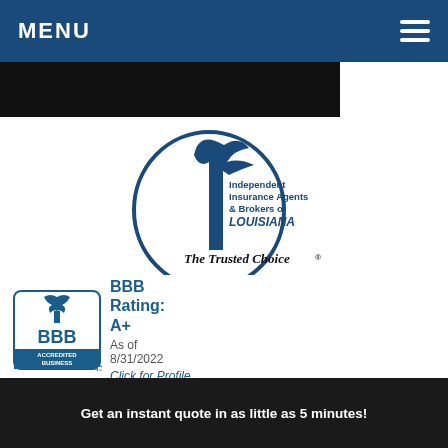MENU
[Figure (logo): Independent Insurance Agents & Brokers of Louisiana - The Trusted Choice logo with eagle/bird graphic]
[Figure (logo): BBB Accredited Business badge with BBB Rating: A+ As of 8/31/2022 Click for Profile]
Get an instant quote in as little as 5 minutes!